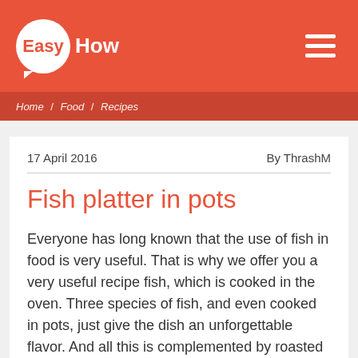EasyHow
Home / Food / Recipes
17 April 2016    By ThrashM
Fish platter in pots
Everyone has long known that the use of fish in food is very useful. That is why we offer you a very useful recipe fish, which is cooked in the oven. Three species of fish, and even cooked in pots, just give the dish an unforgettable flavor. And all this is complemented by roasted vegetables, lettuce and